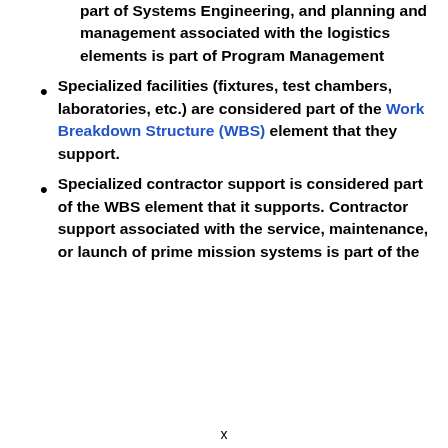part of Systems Engineering, and planning and management associated with the logistics elements is part of Program Management
Specialized facilities (fixtures, test chambers, laboratories, etc.) are considered part of the Work Breakdown Structure (WBS) element that they support.
Specialized contractor support is considered part of the WBS element that it supports. Contractor support associated with the service, maintenance, or launch of prime mission systems is part of the
x